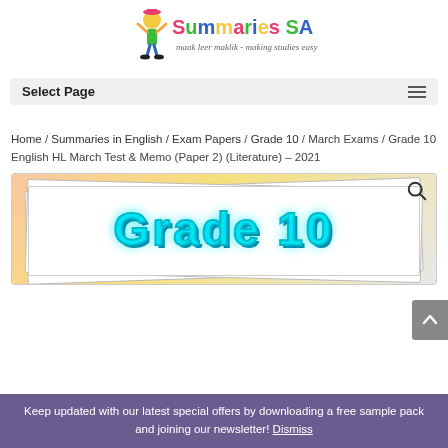[Figure (logo): Summaries SA logo with cartoon character and tagline 'maak leer maklik - making studies easy']
Select Page
Home / Summaries in English / Exam Papers / Grade 10 / March Exams / Grade 10 English HL March Test & Memo (Paper 2) (Literature) – 2021
[Figure (photo): Product image showing Grade 10 text in cyan on a gradient yellow-pink background with stacked paper effect]
Keep updated with our latest special offers by downloading a free sample pack and joining our newsletter! Dismiss